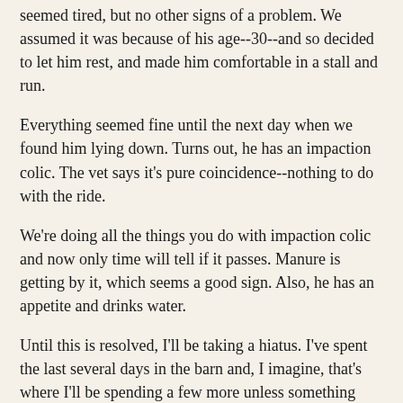seemed tired, but no other signs of a problem. We assumed it was because of his age--30--and so decided to let him rest, and made him comfortable in a stall and run.
Everything seemed fine until the next day when we found him lying down. Turns out, he has an impaction colic. The vet says it's pure coincidence--nothing to do with the ride.
We're doing all the things you do with impaction colic and now only time will tell if it passes. Manure is getting by it, which seems a good sign. Also, he has an appetite and drinks water.
Until this is resolved, I'll be taking a hiatus. I've spent the last several days in the barn and, I imagine, that's where I'll be spending a few more unless something happens quickly. The vet hopes we'll get past it by tomorrow. Seems optimistic, but here's hoping!
In truth, I'm pessimistic. In my experience, when colics don't resolve themselves quickly it's not a good sign. And, he's old.
I just got back from the barn and there wasn't any significant change. He's comfortable, but he has to pass that blockage. The vet